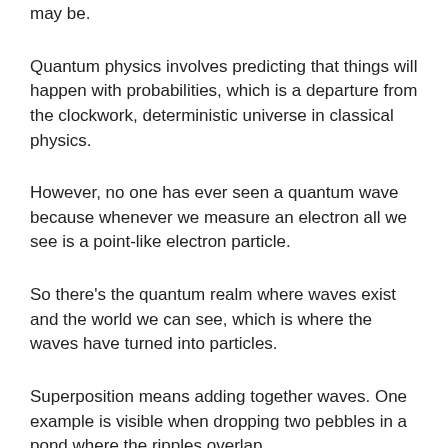may be.
Quantum physics involves predicting that things will happen with probabilities, which is a departure from the clockwork, deterministic universe in classical physics.
However, no one has ever seen a quantum wave because whenever we measure an electron all we see is a point-like electron particle.
So there's the quantum realm where waves exist and the world we can see, which is where the waves have turned into particles.
Superposition means adding together waves. One example is visible when dropping two pebbles in a pond where the ripples overlap.
Entanglement refers to electrons that are inextricably